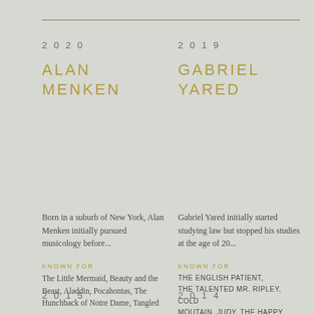2020
ALAN MENKEN
2019
GABRIEL YARED
Born in a suburb of New York, Alan Menken initially pursued musicology before...
KNOWN FOR
The Little Mermaid, Beauty and the Beast, Aladdin, Pocahontas, The Hunchback of Notre Dame, Tangled
Gabriel Yared initially started studying law but stopped his studies at the age of 20...
KNOWN FOR
THE ENGLISH PATIENT, THE TALENTED MR. RIPLEY, COLD MOUTAIN, JUDY, THE HAPPY PRINCE
2015
2014